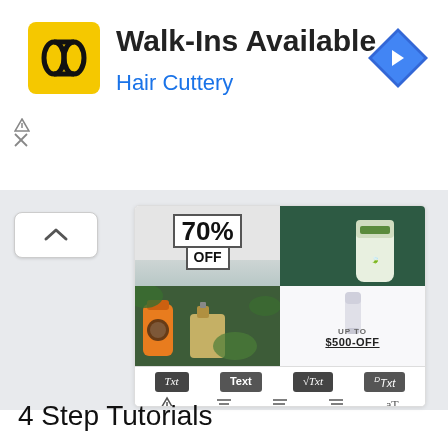[Figure (infographic): Hair Cuttery advertisement banner with yellow/black HC logo, title 'Walk-Ins Available', subtitle 'Hair Cuttery' in blue, and a blue diamond navigation arrow icon on the right. Sponsored markers (triangle and X) below on the left.]
[Figure (screenshot): Screenshot of a design/editing tool showing a 2x2 image collage: top-left cell with '70% OFF' text on white/grey background, top-right with skincare tube on dark green, bottom-left with orange juice bottle among green plants and a perfume bottle, bottom-right with a cream tube and 'UP TO $500-OFF' text. Below the collage is a toolbar with font style buttons and alignment icons.]
4 Step Tutorials